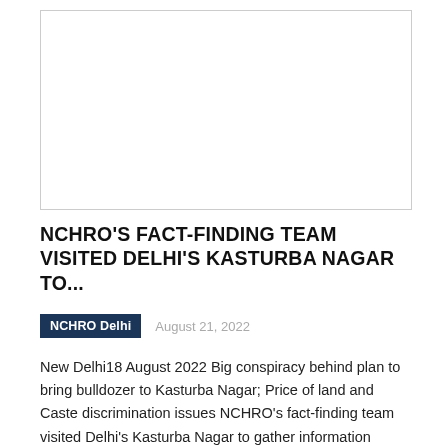[Figure (photo): Blank/white image placeholder with a light gray border]
NCHRO'S FACT-FINDING TEAM VISITED DELHI'S KASTURBA NAGAR TO...
NCHRO Delhi
August 21, 2022
New Delhi18 August 2022 Big conspiracy behind plan to bring bulldozer to Kasturba Nagar; Price of land and Caste discrimination issues NCHRO's fact-finding team visited Delhi's Kasturba Nagar to gather information about the